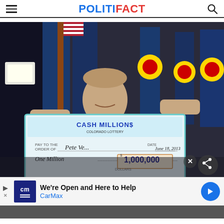POLITIFACT
[Figure (photo): A smiling man holding a large ceremonial check for 'One Million' dollars, amount $1,000,000, pay to Pete Ve..., date June 18 2013, signed by David Palio. Colorado state flags visible in background.]
[Figure (screenshot): CarMax advertisement banner: 'We're Open and Here to Help' with CarMax logo and blue directional arrow icon.]